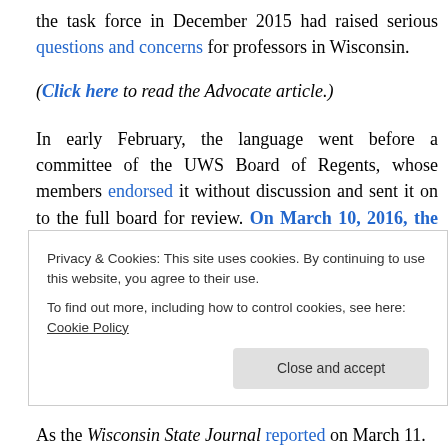the task force in December 2015 had raised serious questions and concerns for professors in Wisconsin.
(Click here to read the Advocate article.)
In early February, the language went before a committee of the UWS Board of Regents, whose members endorsed it without discussion and sent it on to the full board for review. On March 10, 2016, the board voted to approve statewide rules that will significantly weaken tenure and due process protections for faculty at all UW campuses.
Privacy & Cookies: This site uses cookies. By continuing to use this website, you agree to their use.
To find out more, including how to control cookies, see here: Cookie Policy
As the Wisconsin State Journal reported on March 11.